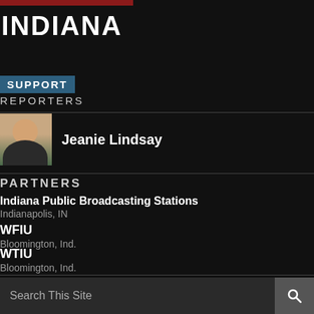INDIANA
SUPPORT REPORTERS
[Figure (photo): Headshot of Jeanie Lindsay, a woman with dark hair pulled back, smiling]
Jeanie Lindsay
PARTNERS
Indiana Public Broadcasting Stations
Indianapolis, IN
WFIU
Bloomington, Ind.
WTIU
Bloomington, Ind.
ARCHIVES
Search This Site